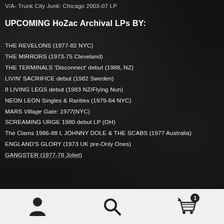V/A- Trunk City Junk: Chicago 2003-07 LP
UPCOMING HoZac Archival LPs BY:
THE REVELONS (1977-82 NYC)
THE MIRRORS (1973-75 Cleveland)
THE TERMINALS 'Disconnect' debut (1988, NZ)
LIVIN' SACRIFICE debut (1982 Sweden)
8 LIVING LEGS debut (1983 NZ/Flying Nun)
NEON LEON Singles & Rarities (1979-84 NYC)
MARS Village Gate: 1977(NYC)
SCREAMING URGE 1980 debut LP (OH)
The Clams 1986-88 L JOHNNY DOLE & THE SCABS (1977 Australia)
ENGLAND'S GLORY (1973 UK pre-Only Ones)
GANGSTER (1977-78 Joliet)
[Figure (infographic): Bottom navigation bar with three icons: user/account icon on left, search magnifying glass icon in center, shopping cart icon with badge showing '1' on right]